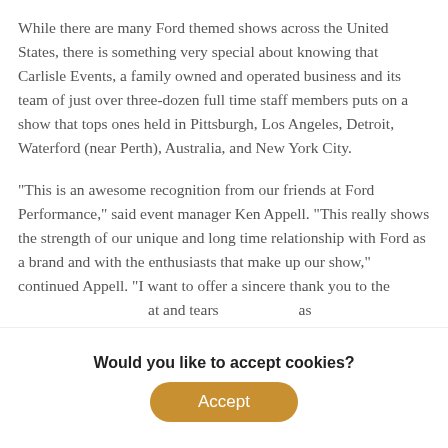While there are many Ford themed shows across the United States, there is something very special about knowing that Carlisle Events, a family owned and operated business and its team of just over three-dozen full time staff members puts on a show that tops ones held in Pittsburgh, Los Angeles, Detroit, Waterford (near Perth), Australia, and New York City.
"This is an awesome recognition from our friends at Ford Performance," said event manager Ken Appell. "This really shows the strength of our unique and long time relationship with Ford as a brand and with the enthusiasts that make up our show," continued Appell. "I want to offer a sincere thank you to the [text cut off] at and tears [text cut off] as
[Figure (infographic): Advertisement banner for 'The Ultimate Weekend Car Show' by Carlisle Events, showing an orange sports car on the left side with text 'The Ultimate Weekend Car Show — See what Carlisle Events is about →' on a tan/brown background. Has a close button (x) in the top right.]
Would you like to accept cookies?
Accept